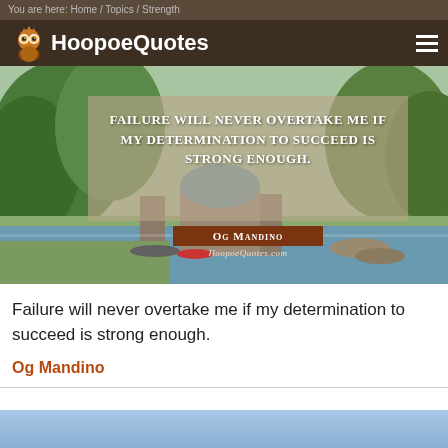You are here: Home / Topics / Strength
[Figure (logo): HoopoeQuotes website logo with owl icon and site name in white text on dark brown background]
[Figure (photo): Quote image over scenic background showing an old stone bridge over a river with trees. Overlay text reads: FAILURE WILL NEVER OVERTAKE ME IF MY DETERMINATION TO SUCCEED IS STRONG ENOUGH. Author: Og Mandino. Watermark: HoopoeQuotes.com]
Failure will never overtake me if my determination to succeed is strong enough.
Og Mandino